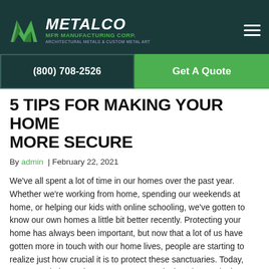[Figure (logo): Metalco MFR Manufacturing Corp. logo with green and white geometric M icon and company name in white italic text on dark teal background]
(800) 708-2526 | Get A Quote
5 TIPS FOR MAKING YOUR HOME MORE SECURE
By admin | February 22, 2021
We've all spent a lot of time in our homes over the past year. Whether we're working from home, spending our weekends at home, or helping our kids with online schooling, we've gotten to know our own homes a little bit better recently. Protecting your home has always been important, but now that a lot of us have gotten more in touch with our home lives, people are starting to realize just how crucial it is to protect these sanctuaries. Today, more people have chosen gate systems, lock codes, and other home protection methods.